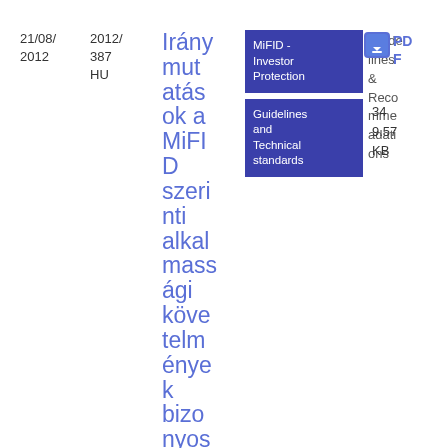21/08/2012
2012/387 HU
Iránymutatások a MiFID szerinti alkalmazási követelmények bizonyos szempontjairól
MiFID - Investor Protection
Guidelines and Technical standards
Guidelines & Recommendations
[Figure (other): PDF download icon - blue square with download arrow symbol]
PDF
349.57 KB